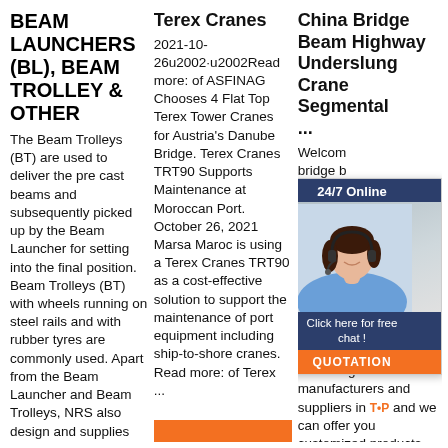BEAM LAUNCHERS (BL), BEAM TROLLEY & OTHER
The Beam Trolleys (BT) are used to deliver the pre cast beams and subsequently picked up by the Beam Launcher for setting into the final position. Beam Trolleys (BT) with wheels running on steel rails and with rubber tyres are commonly used. Apart from the Beam Launcher and Beam Trolleys, NRS also design and supplies related and various ...
Terex Cranes
2021-10-26u2002·u2002Read more: of ASFINAG Chooses 4 Flat Top Terex Tower Cranes for Austria's Danube Bridge. Terex Cranes TRT90 Supports Maintenance at Moroccan Port. October 26, 2021 Marsa Maroc is using a Terex Cranes TRT90 as a cost-effective solution to support the maintenance of port equipment including ship-to-shore cranes. Read more: of Terex ...
[Figure (other): Orange bar/button at bottom of middle column]
China Bridge Beam Highway Underslung Crane Segmental ...
Welcome bridge b underslung segmental launching quotation Dowell Co.,Ltd, of the leading beam highway underslung crane segmental bridge launching manufacturers and suppliers in China and we can offer you customized products.
[Figure (infographic): Chat widget overlay showing a woman with headset, '24/7 Online' header, 'Click here for free chat!' text, and QUOTATION orange button]